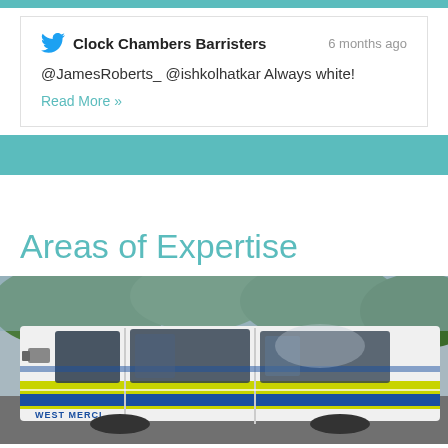Clock Chambers Barristers — 6 months ago
@JamesRoberts_ @ishkolhatkar Always white!
Read More »
Areas of Expertise
[Figure (photo): Side view of a West Mercia Police van with yellow and blue livery markings, parked near green foliage.]